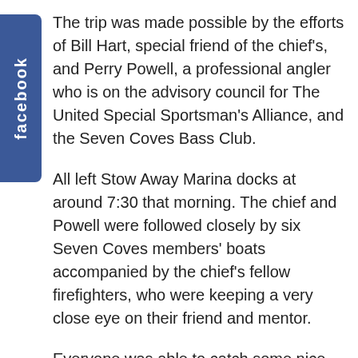The trip was made possible by the efforts of Bill Hart, special friend of the chief's, and Perry Powell, a professional angler who is on the advisory council for The United Special Sportsman's Alliance, and the Seven Coves Bass Club.
All left Stow Away Marina docks at around 7:30 that morning. The chief and Powell were followed closely by six Seven Coves members' boats accompanied by the chief's fellow firefighters, who were keeping a very close eye on their friend and mentor.
Everyone was able to catch some nice fish thanks to the help of the knowledgeable club members that pulled out all of their tricks to put the group on fish that morning. When the chief caught his first fish he was shaking. When he was asked if he was OK, all he could say was he